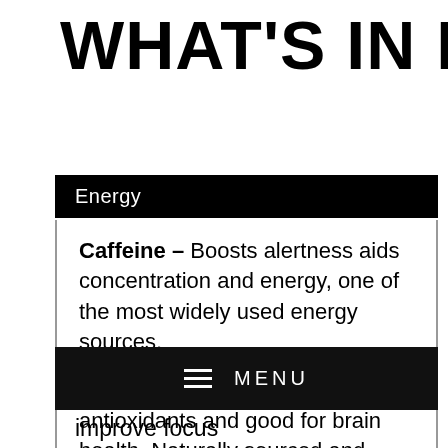WHAT'S IN IT?
Energy
Caffeine – Boosts alertness aids concentration and energy, one of the most widely used energy sources.
Green Tea Extract – High in antioxidants and good for brain health. Naturally sourced and cleaner than many synthetic caffeine sources.
☰ MENU
improve focus